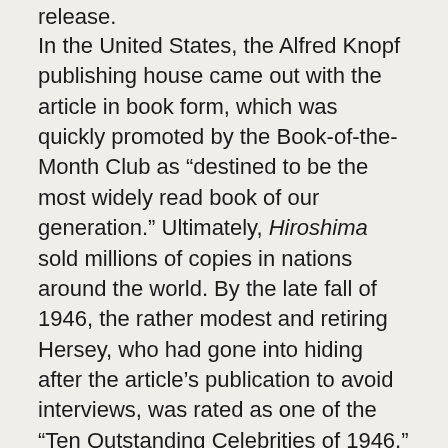release.
In the United States, the Alfred Knopf publishing house came out with the article in book form, which was quickly promoted by the Book-of-the-Month Club as “destined to be the most widely read book of our generation.” Ultimately, Hiroshima sold millions of copies in nations around the world. By the late fall of 1946, the rather modest and retiring Hersey, who had gone into hiding after the article’s publication to avoid interviews, was rated as one of the “Ten Outstanding Celebrities of 1946,” along with General Dwight Eisenhower and singer Bing Crosby.
For US government officials, reasonably content with past public support for the atomic bombing and a nuclear-armed future, Hersey’s success in reaching the public with his disturbing account of nuclear war confronted them with a genuine challenge. For the